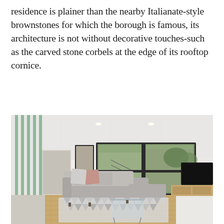residence is plainer than the nearby Italianate-style brownstones for which the borough is famous, its architecture is not without decorative touches-such as the carved stone corbels at the edge of its rooftop cornice.
[Figure (photo): Interior photo of a modern living room with light wood floors, white walls, green vertical metal rail divider on the left, a large black-framed window with outdoor view, a gray sectional sofa with pink and gray cushions, a glass coffee table, a geometric patterned area rug, and a flat-screen TV on a light wood media console on the right.]